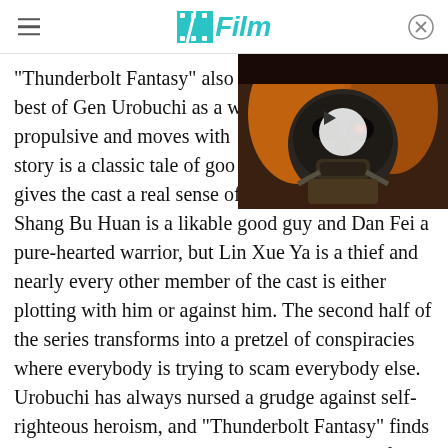/Film
[Figure (screenshot): Video thumbnail of a masked warrior creature with skeletal face, long hair, and breathing apparatus — a movie/TV still with a play button overlay]
"Thunderbolt Fantasy" also brings out the best of Gen Urobuchi as a writer. The plot is propulsive and moves with efficient speed. The story is a classic tale of good vs. evil but gives the cast a real sense of moral ambiguity. Shang Bu Huan is a likable good guy and Dan Fei a pure-hearted warrior, but Lin Xue Ya is a thief and nearly every other member of the cast is either plotting with him or against him. The second half of the series transforms into a pretzel of conspiracies where everybody is trying to scam everybody else. Urobuchi has always nursed a grudge against self-righteous heroism, and "Thunderbolt Fantasy" finds new and entertaining ways to skewer its cast of